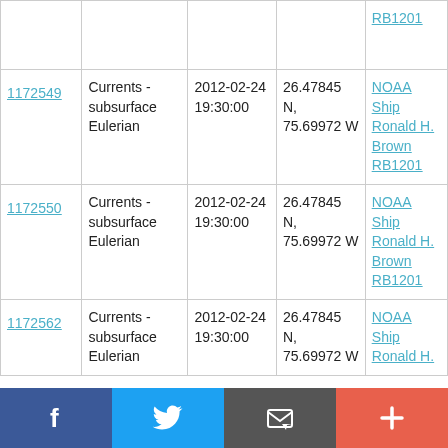| ID | Type | Date/Time | Location | Source |
| --- | --- | --- | --- | --- |
|  |  |  |  | RB1201 |
| 1172549 | Currents - subsurface Eulerian | 2012-02-24 19:30:00 | 26.47845 N, 75.69972 W | NOAA Ship Ronald H. Brown RB1201 |
| 1172550 | Currents - subsurface Eulerian | 2012-02-24 19:30:00 | 26.47845 N, 75.69972 W | NOAA Ship Ronald H. Brown RB1201 |
| 1172562 | Currents - subsurface Eulerian | 2012-02-24 19:30:00 | 26.47845 N, 75.69972 W | NOAA Ship Ronald H. |
[Figure (other): Social sharing toolbar with Facebook, Twitter, email, and plus buttons]